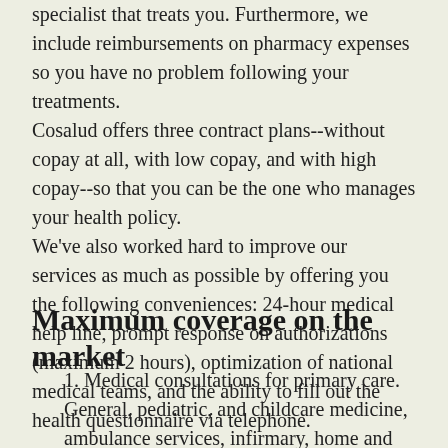specialist that treats you. Furthermore, we include reimbursements on pharmacy expenses so you have no problem following your treatments. Cosalud offers three contract plans--without copay at all, with low copay, and with high copay--so that you can be the one who manages your health policy. We've also worked hard to improve our services as much as possible by offering you the following conveniences: 24-hour medical help line, prompt response on authorizations (maximum 2 hours), optimization of national medical teams, and the ability to fill out the health questionnaire via telephone.
Maximum coverage on the market
1. Medical consultations for primary care. General, pediatric, and childcare medicine, ambulance services, infirmary, home and outpatient emergencies in medical